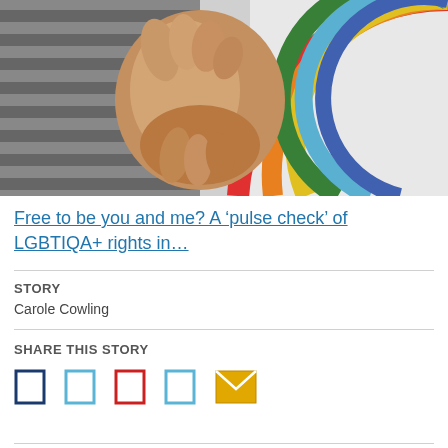[Figure (photo): Two people holding hands together, one wearing a striped shirt and the other wearing a white shirt with a rainbow design on the right side.]
Free to be you and me? A ‘pulse check’ of LGBTIQA+ rights in…
STORY
Carole Cowling
SHARE THIS STORY
[Figure (infographic): Row of social sharing icons: Facebook (dark blue), Twitter (light blue), Pinterest (red), LinkedIn (light blue), Email (yellow envelope)]